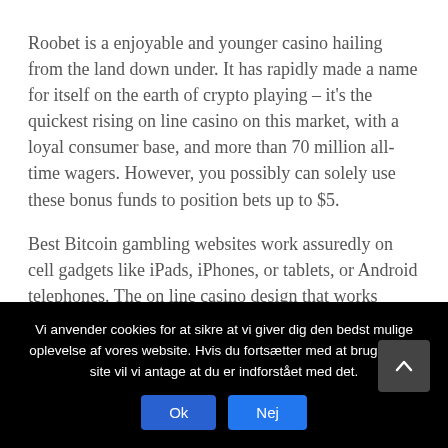Roobet is a enjoyable and younger casino hailing from the land down under. It has rapidly made a name for itself on the earth of crypto playing – it's the quickest rising on line casino on this market, with a loyal consumer base, and more than 70 million all-time wagers. However, you possibly can solely use these bonus funds to position bets up to $5.
Best Bitcoin gambling websites work assuredly on cell gadgets like iPads, iPhones, or tablets, or Android telephones. The on line casino design that works nicely in cell units known as responsive design. So, the positioning responds and scales very nicely also to small screens in cellular devices.
Vi anvender cookies for at sikre at vi giver dig den bedst mulige oplevelse af vores website. Hvis du fortsætter med at bruge dette site vil vi antage at du er indforstået med det.